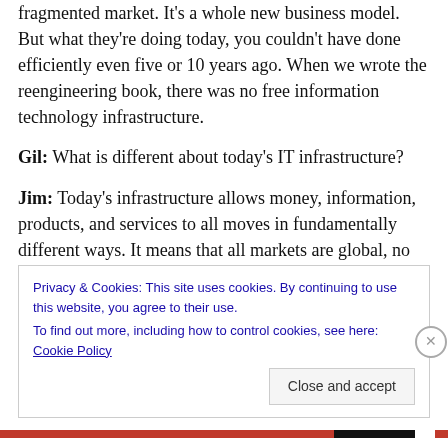fragmented market. It's a whole new business model. But what they're doing today, you couldn't have done efficiently even five or 10 years ago. When we wrote the reengineering book, there was no free information technology infrastructure.
Gil: What is different about today's IT infrastructure?
Jim: Today's infrastructure allows money, information, products, and services to all moves in fundamentally different ways. It means that all markets are global, no matter how big or small you are. That's a huge move.
Privacy & Cookies: This site uses cookies. By continuing to use this website, you agree to their use.
To find out more, including how to control cookies, see here: Cookie Policy
Close and accept